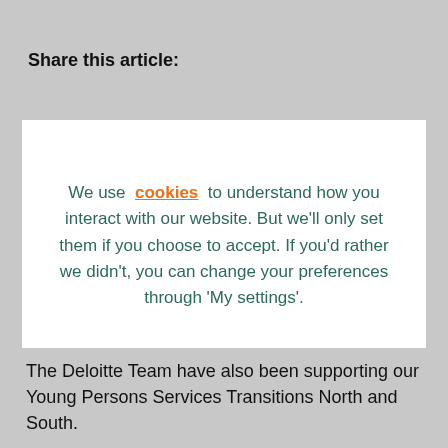Share this article:
We use cookies to understand how you interact with our website. But we'll only set them if you choose to accept. If you'd rather we didn't, you can change your preferences through 'My settings'.
ACCEPT
My settings
The Deloitte Team have also been supporting our Young Persons Services Transitions North and South.